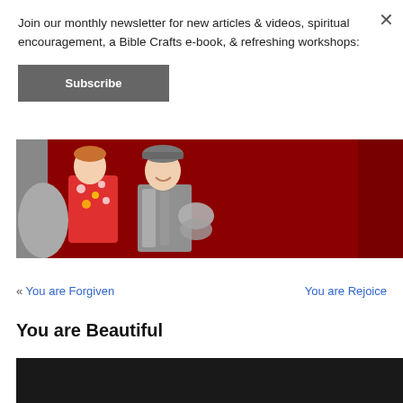Join our monthly newsletter for new articles & videos, spiritual encouragement, a Bible Crafts e-book, & refreshing workshops:
Subscribe
[Figure (photo): Children dressed in costumes against a dark red background. One child wears a polka-dot outfit in red, another wears a metallic/silver knight or soldier costume with a cap.]
« You are Forgiven    You are Rejoice
You are Beautiful
[Figure (photo): Bottom portion of a video thumbnail with dark/black background, partially visible.]